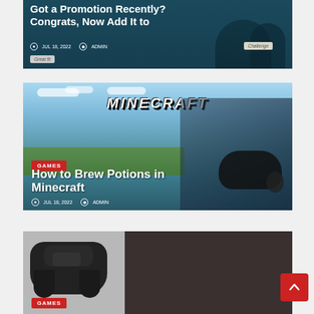[Figure (photo): Article card with dark teal background showing partial title 'Got a Promotion Recently? Congrats, Now Add It to' with date JUL 18, 2022, ADMIN, and badge labels 'Challenge' and 'Great fit']
Got a Promotion Recently? Congrats, Now Add It to
JUL 18, 2022   ADMIN
[Figure (photo): Minecraft article card with photo of person holding Xbox controller, Minecraft logo at top, GAMES category badge, title 'How to Brew Potions in Minecraft', date JUL 18, 2022, ADMIN]
GAMES
How to Brew Potions in Minecraft
JUL 18, 2022   ADMIN
[Figure (photo): Partial article card showing PS4 controller on left (grey background) and dark background on right, with GAMES category badge at bottom]